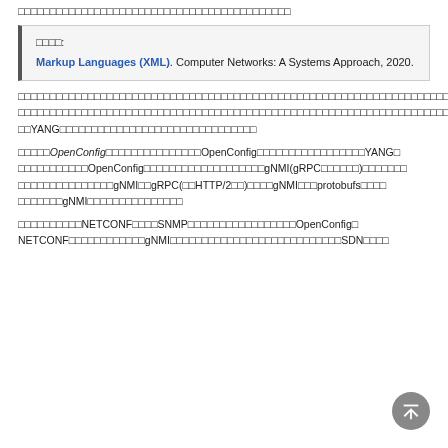（Chinese characters — top line of running text）
参考文献:
Markup Languages (XML). Computer Networks: A Systems Approach, 2020.
（Chinese paragraph text about YANG）
（Chinese paragraph text about OpenConfig, gNMI, gRPC, HTTP/2, protobufs）
（Chinese paragraph text about NETCONF, SNMP, OpenConfig, gNMI, SDN）